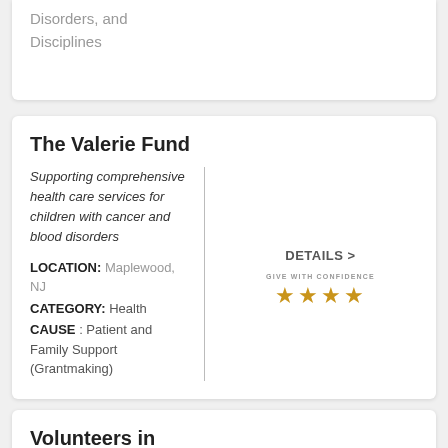Disorders, and Disciplines
The Valerie Fund
Supporting comprehensive health care services for children with cancer and blood disorders
LOCATION: Maplewood, NJ
CATEGORY: Health
CAUSE : Patient and Family Support (Grantmaking)
DETAILS >
[Figure (infographic): Give With Confidence badge with 4 gold stars]
Volunteers in Medicine Clinic Hilton